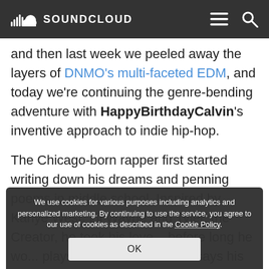SOUNDCLOUD
and then last week we peeled away the layers of DNMO's multi-faceted EDM, and today we're continuing the genre-bending adventure with HappyBirthdayCalvin's inventive approach to indie hip-hop.
The Chicago-born rapper first started writing down his dreams and penning poems in middle school. Inspired by Kanye West, Lil Wayne and Tyler, the Creator, he took his love... before long he wo... plays on SoundCloud. He says his tag "HappyBirthdayCalvin" represents the
We use cookies for various purposes including analytics and personalized marketing. By continuing to use the service, you agree to our use of cookies as described in the Cookie Policy.